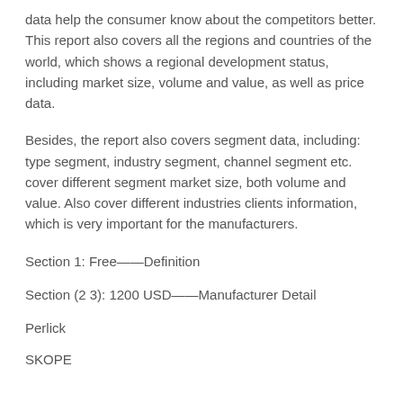data help the consumer know about the competitors better. This report also covers all the regions and countries of the world, which shows a regional development status, including market size, volume and value, as well as price data.
Besides, the report also covers segment data, including: type segment, industry segment, channel segment etc. cover different segment market size, both volume and value. Also cover different industries clients information, which is very important for the manufacturers.
Section 1: Free——Definition
Section (2 3): 1200 USD——Manufacturer Detail
Perlick
SKOPE